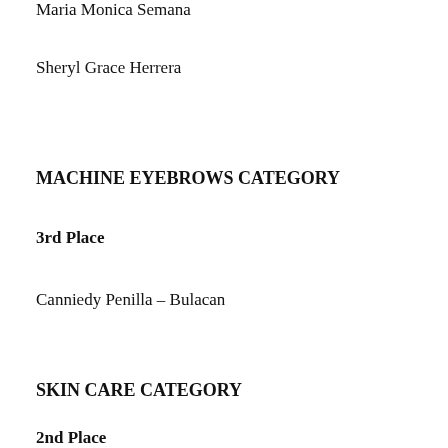Maria Monica Semana
Sheryl Grace Herrera
MACHINE EYEBROWS CATEGORY
3rd Place
Canniedy Penilla – Bulacan
SKIN CARE CATEGORY
2nd Place